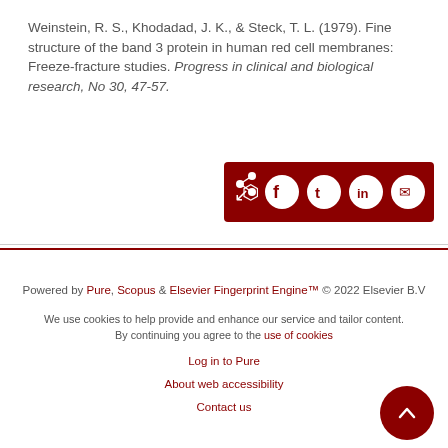Weinstein, R. S., Khodadad, J. K., & Steck, T. L. (1979). Fine structure of the band 3 protein in human red cell membranes: Freeze-fracture studies. Progress in clinical and biological research, No 30, 47-57.
[Figure (other): Share bar with dark red background containing share icon and social media buttons: Facebook, Twitter, LinkedIn, Email]
Powered by Pure, Scopus & Elsevier Fingerprint Engine™ © 2022 Elsevier B.V
We use cookies to help provide and enhance our service and tailor content. By continuing you agree to the use of cookies
Log in to Pure
About web accessibility
Contact us